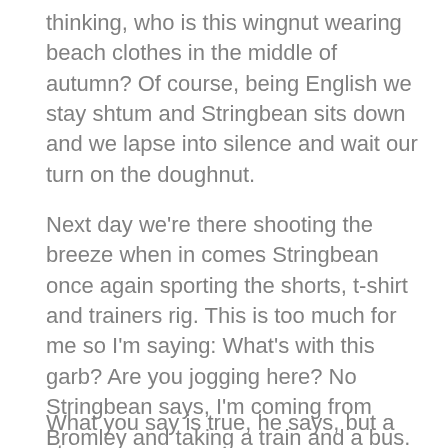thinking, who is this wingnut wearing beach clothes in the middle of autumn? Of course, being English we stay shtum and Stringbean sits down and we lapse into silence and wait our turn on the doughnut.
Next day we're there shooting the breeze when in comes Stringbean once again sporting the shorts, t-shirt and trainers rig. This is too much for me so I'm saying: What's with this garb? Are you jogging here? No Stringbean says, I'm coming from Bromley and taking a train and a bus. And I say you must be some kind of chump, it's freezing out there.
What you say is true, he says, but a story goes